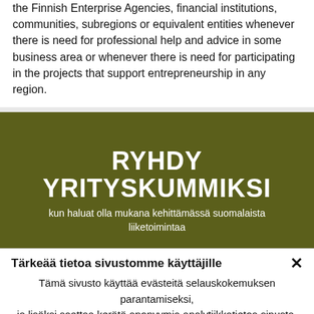the Finnish Enterprise Agencies, financial institutions, communities, subregions or equivalent entities whenever there is need for professional help and advice in some business area or whenever there is need for participating in the projects that support entrepreneurship in any region.
[Figure (other): Olive/dark yellow-green background section with centered white bold title 'RYHDY YRITYSKUMMIKSI' and subtitle text 'kun haluat olla mukana kehittämässä suomalaista liiketoimintaa']
Tärkeää tietoa sivustomme käyttäjille
Tämä sivusto käyttää evästeitä selauskokemuksen parantamiseksi, ja lisäksi saattaa kerätä anonyymia analytiikkatietoa sinusta. Jatkamalla sivuston käyttöä hyväksyt tämän.